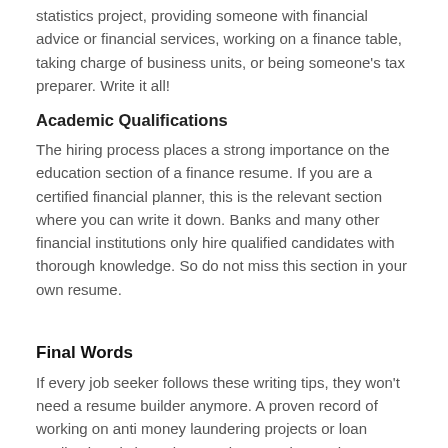statistics project, providing someone with financial advice or financial services, working on a finance table, taking charge of business units, or being someone's tax preparer. Write it all!
Academic Qualifications
The hiring process places a strong importance on the education section of a finance resume. If you are a certified financial planner, this is the relevant section where you can write it down. Banks and many other financial institutions only hire qualified candidates with thorough knowledge. So do not miss this section in your own resume.
Final Words
If every job seeker follows these writing tips, they won't need a resume builder anymore. A proven record of working on anti money laundering projects or loan applications is bound to convince employers that you're the perfect candidate.